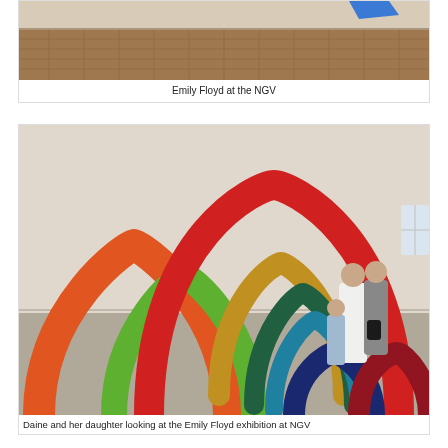[Figure (photo): Emily Floyd art installation at NGV, showing a patterned floor with abstract sculpture elements and a blue geometric shape on the wall]
Emily Floyd at the NGV
[Figure (photo): Colourful arched sculptures in a gallery space, a woman and a child looking at the Emily Floyd exhibition at NGV, with multiple rainbow-coloured arch forms]
Daine and her daughter looking at the Emily Floyd exhibition at NGV